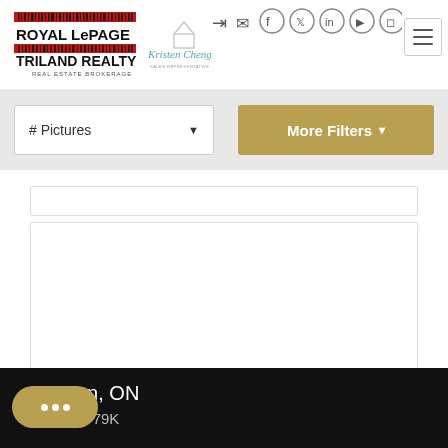[Figure (logo): Royal LePage Triland Realty logo with barcode design and red stripes]
[Figure (logo): Kristen Cheng signature/personal branding logo]
[Figure (screenshot): Navigation icons: login arrow, mail, Facebook, Twitter, LinkedIn, YouTube, Instagram; hamburger menu button]
# Pictures
More Filters
on, ON
$779K